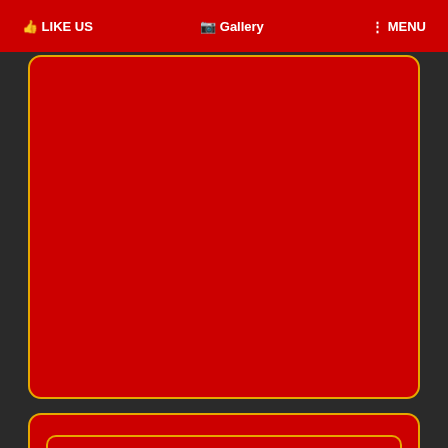LIKE US  Gallery  MENU
[Figure (screenshot): Partially visible red card with gold border on dark background]
Mahi's Latest Reviews
"Guys, I was in a hotel in Cuffe Parade last week. Meet such a beautiful Indian girl Mahi through Sana Patel. She is outstanding. I'm delighted."
★ ★ ★ ★ ★
Made by Mr. Alex on 15/09/2021